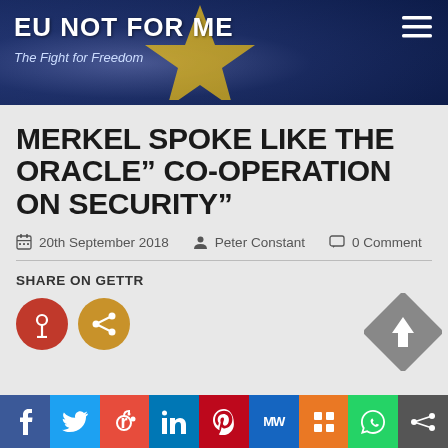EU NOT FOR ME — The Fight for Freedom
MERKEL SPOKE LIKE THE ORACLE” CO-OPERATION ON SECURITY”
20th September 2018   Peter Constant   0 Comment
SHARE ON GETTR
[Figure (infographic): Social share buttons: Gettr (red circle), share (orange circle), and a grey diamond up-arrow button]
Social sharing bar: Facebook, Twitter, Reddit, LinkedIn, Pinterest, MW, Mix, WhatsApp, Share